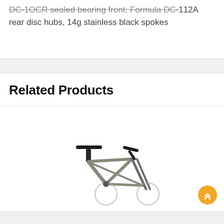DC-1OCR sealed bearing front; Formula DC-112A rear disc hubs, 14g stainless black spokes
Related Products
[Figure (photo): Partial view of a bicycle frame and components — saddle, handlebars, and front fork visible against white background]